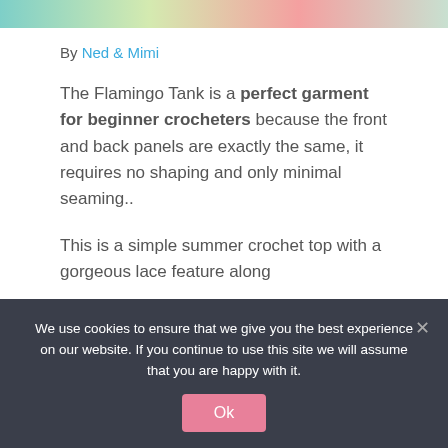[Figure (photo): Partial top strip of a colorful crochet garment photo]
By Ned & Mimi
The Flamingo Tank is a perfect garment for beginner crocheters because the front and back panels are exactly the same, it requires no shaping and only minimal seaming..
This is a simple summer crochet top with a gorgeous lace feature along
We use cookies to ensure that we give you the best experience on our website. If you continue to use this site we will assume that you are happy with it.